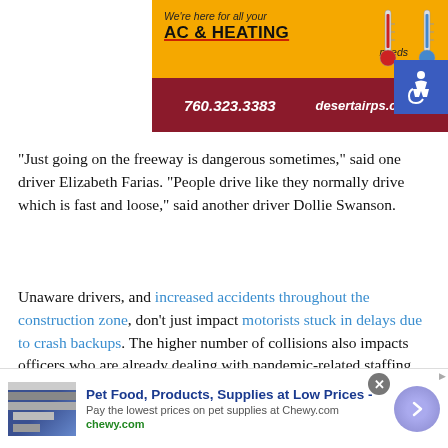[Figure (infographic): AC & Heating advertisement banner with orange background, two thermometer icons, phone number 760.323.3383 and website desertairps.com on dark red background]
[Figure (logo): Blue accessibility/wheelchair icon]
“Just going on the freeway is dangerous sometimes,” said one driver Elizabeth Farias. “People drive like they normally drive which is fast and loose,” said another driver Dollie Swanson.
Unaware drivers, and increased accidents throughout the construction zone, don’t just impact motorists stuck in delays due to crash backups. The higher number of collisions also impacts officers who are already dealing with pandemic-related staffing limitations, but also more responses, investigations, and related paperwork. All that extra work then
[Figure (infographic): Chewy.com advertisement: Pet Food, Products, Supplies at Low Prices - Pay the lowest prices on pet supplies at Chewy.com]